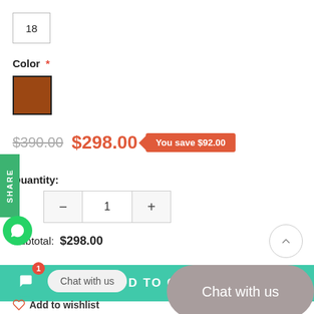18
Color *
[Figure (other): Brown color swatch square]
$390.00  $298.00  You save $92.00
Quantity:
1
Subtotal:  $298.00
ADD TO CART
Chat with us
Chat with us
Add to wishlist
SHARE